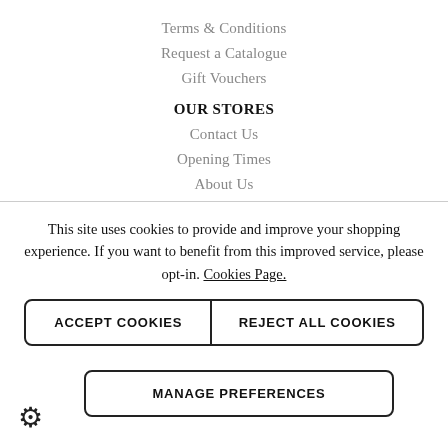Terms & Conditions
Request a Catalogue
Gift Vouchers
OUR STORES
Contact Us
Opening Times
About Us
This site uses cookies to provide and improve your shopping experience. If you want to benefit from this improved service, please opt-in. Cookies Page.
ACCEPT COOKIES
REJECT ALL COOKIES
MANAGE PREFERENCES